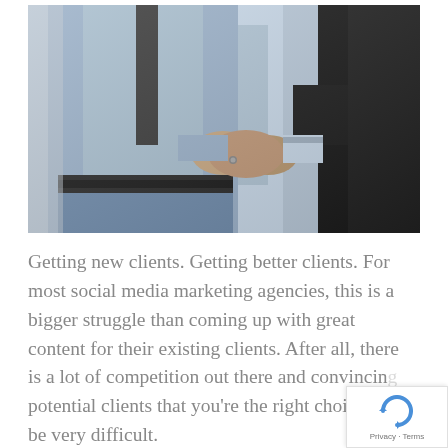[Figure (photo): Close-up photo of two business people shaking hands. One person in a light blue dress shirt and dark tie, the other in a dark jacket, clasping hands in the center. A third person in the background also in a light blue shirt.]
Getting new clients. Getting better clients. For most social media marketing agencies, this is a bigger struggle than coming up with great content for their existing clients. After all, there is a lot of competition out there and convincing potential clients that you're the right choice can be very difficult.